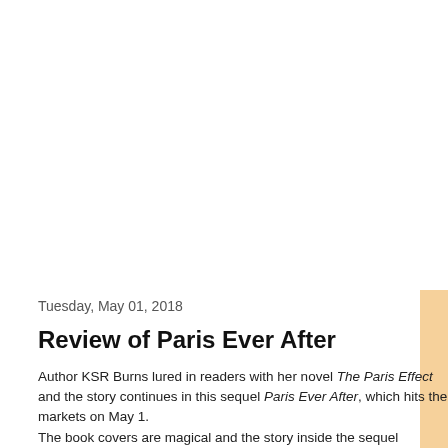[Figure (illustration): Large white/blank image area at the top of the page, with a peach/orange decorative sidebar on the right side.]
Tuesday, May 01, 2018
Review of Paris Ever After
Author KSR Burns lured in readers with her novel The Paris Effect and the story continues in this sequel Paris Ever After, which hits the markets on May 1.
The book covers are magical and the story inside the sequel